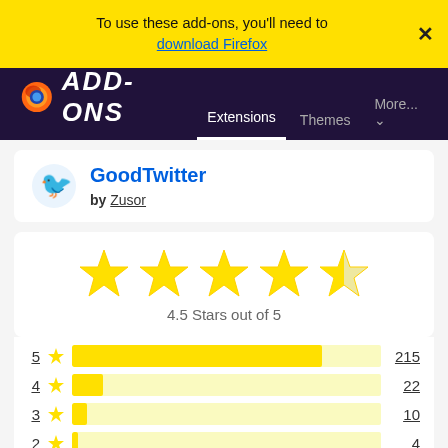To use these add-ons, you'll need to download Firefox
[Figure (screenshot): Firefox Add-ons navigation bar with Firefox logo and ADD-ONS title, showing Extensions, Themes, More... tabs]
GoodTwitter by Zusor
[Figure (other): 4.5 star rating display with 5 large yellow stars (last one half-filled), labeled '4.5 Stars out of 5']
| Stars | Icon | Bar | Count |
| --- | --- | --- | --- |
| 5 | star | bar~79% | 215 |
| 4 | star | bar~13% | 22 |
| 3 | star | bar~7% | 10 |
| 2 | star | bar~2% | 4 |